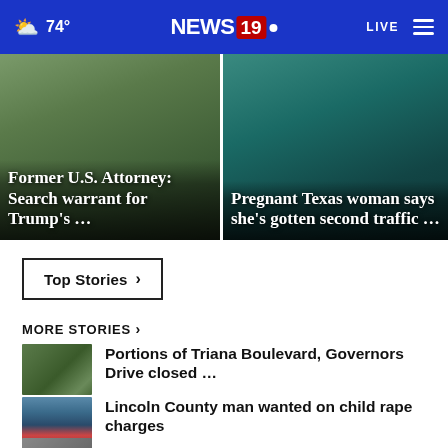☁ 74° | NEWS 19 | LIVE
[Figure (screenshot): News story card: Former U.S. Attorney: Search warrant for Trump's …]
[Figure (screenshot): News story card: Pregnant Texas woman says she's gotten second traffic …]
Top Stories ›
MORE STORIES ›
[Figure (photo): Aerial view thumbnail for Triana Boulevard story]
Portions of Triana Boulevard, Governors Drive closed …
[Figure (photo): Person mugshot thumbnail for Lincoln County story]
Lincoln County man wanted on child rape charges
[Figure (photo): Partial thumbnail for next story]